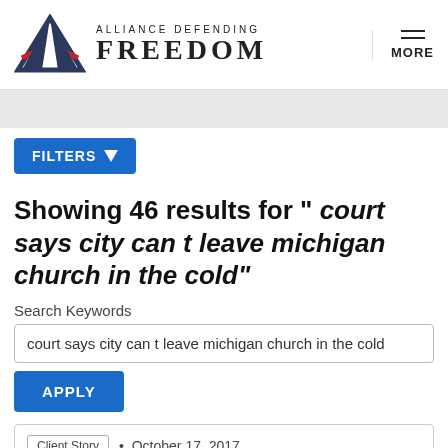[Figure (logo): Alliance Defending Freedom logo with stylized A graphic and text 'ALLIANCE DEFENDING FREEDOM']
FILTERS
Showing 46 results for " court says city can t leave michigan church in the cold"
Search Keywords
court says city can t leave michigan church in the cold
APPLY
Client Story  •  October 17, 2017